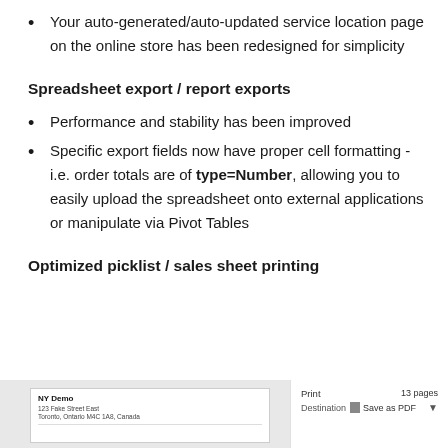Your auto-generated/auto-updated service location page on the online store has been redesigned for simplicity
Spreadsheet export / report exports
Performance and stability has been improved
Specific export fields now have proper cell formatting - i.e. order totals are of type=Number, allowing you to easily upload the spreadsheet onto external applications or manipulate via Pivot Tables
Optimized picklist / sales sheet printing
[Figure (screenshot): Partial screenshot of a print dialog showing a document titled 'NY Demo' with address details on the left, and on the right a print panel showing '13 pages' and 'Save as PDF' destination option.]